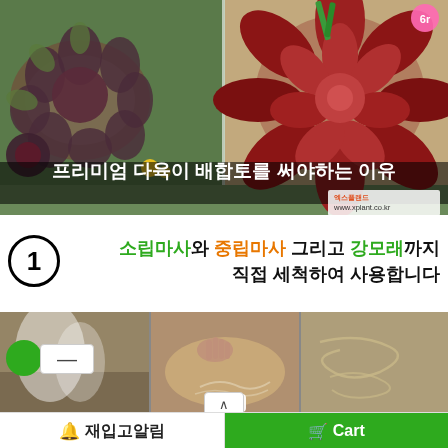[Figure (photo): Top collage of succulent plants — two photos side by side: left shows multiple small rosette-shaped purple/green succulents in a pot, right shows a single large red/maroon echeveria succulent. White Korean text overlay reads '프리미엄 다육이 배합토를 써야하는 이유' (Reasons to use premium succulent blended soil). Small xplant.co.kr logo in bottom-right corner.]
① 소립마사와 중립마사 그리고 강모래까지
직접 세척하여 사용합니다
[Figure (photo): Three side-by-side photos showing soil/sand materials being washed: left shows fine gravel in water with white steam/runoff, middle shows a person's hand mixing/washing sand in a large shallow container, right shows sand spread out on a surface with water lines. Overlay UI elements: green circle button, minus button, TOP button, chat bubble icon, scroll-up arrow button.]
🔔 재입고알림    🛒 Cart